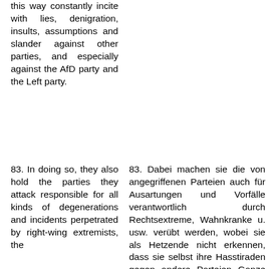this way constantly incite with lies, denigration, insults, assumptions and slander against other parties, and especially against the AfD party and the Left party.
83. In doing so, they also hold the parties they attack responsible for all kinds of degenerations and incidents perpetrated by right-wing extremists, the
83. Dabei machen sie die von angegriffenen Parteien auch für Ausartungen und Vorfälle verantwortlich durch Rechtsextreme, Wahnkranke u. usw. verübt werden, wobei sie als Hetzende nicht erkennen, dass sie selbst ihre Hasstiraden gegen andere Parteien Ganze provozieren und damit Trittbrettf bösem Handeln und Tun verführen.